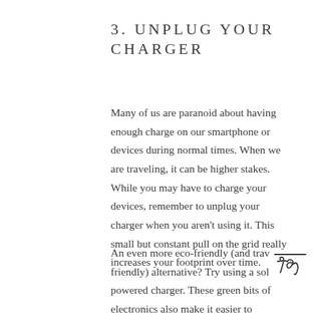3. UNPLUG YOUR CHARGER
Many of us are paranoid about having enough charge on our smartphone or devices during normal times. When we are traveling, it can be higher stakes. While you may have to charge your devices, remember to unplug your charger when you aren't using it. This small but constant pull on the grid really increases your footprint over time.
An even more eco-friendly (and trav friendly) alternative? Try using a sol powered charger. These green bits of electronics also make it easier to
[Figure (illustration): Handwritten-style cursive text reading 'Top' with a horizontal line above it, resembling a signature or annotation mark.]